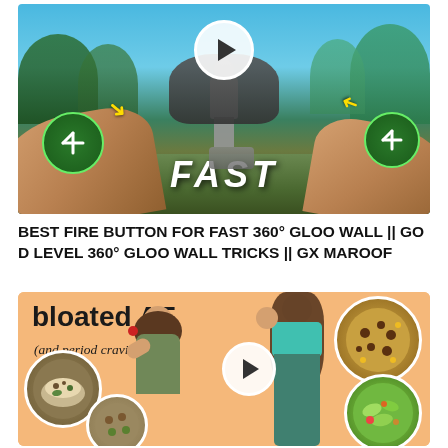[Figure (screenshot): Mobile game screenshot showing a player holding a phone, playing a battle royale game with green circular buttons on left and right sides, a play button circle at top center, yellow arrows, and the word FAST in italic white text at the bottom]
BEST FIRE BUTTON FOR FAST 360° GLOO WALL || GOD LEVEL 360° GLOO WALL TRICKS || GX MAROOF
[Figure (photo): YouTube thumbnail with peach/orange background showing 'bloated AF (and period cravings)' text, two girls, and circular food images including cookies, salad, and other dishes with a play button]